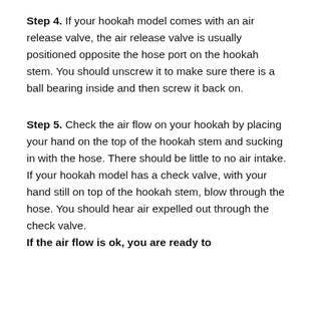Step 4. If your hookah model comes with an air release valve, the air release valve is usually positioned opposite the hose port on the hookah stem. You should unscrew it to make sure there is a ball bearing inside and then screw it back on.
Step 5. Check the air flow on your hookah by placing your hand on the top of the hookah stem and sucking in with the hose. There should be little to no air intake. If your hookah model has a check valve, with your hand still on top of the hookah stem, blow through the hose. You should hear air expelled out through the check valve.
If the air flow is ok, you are ready to